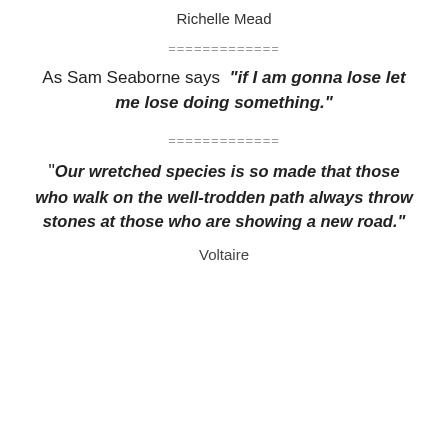Richelle Mead
=============
As Sam Seaborne says “if I am gonna lose let me lose doing something.”
==============
“Our wretched species is so made that those who walk on the well-trodden path always throw stones at those who are showing a new road.”
Voltaire